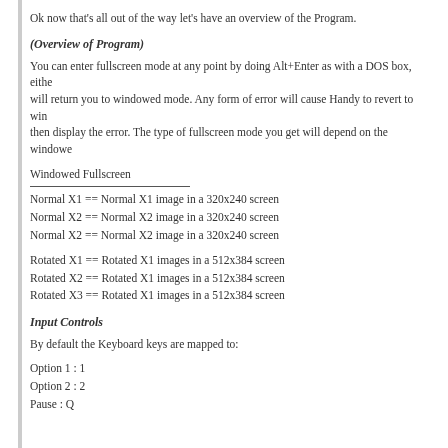Ok now that's all out of the way let's have an overview of the Program.
(Overview of Program)
You can enter fullscreen mode at any point by doing Alt+Enter as with a DOS box, either will return you to windowed mode. Any form of error will cause Handy to revert to windowed mode then display the error. The type of fullscreen mode you get will depend on the windowed
Windowed Fullscreen
Normal X1 == Normal X1 image in a 320x240 screen
Normal X2 == Normal X2 image in a 320x240 screen
Normal X2 == Normal X2 image in a 320x240 screen
Rotated X1 == Rotated X1 images in a 512x384 screen
Rotated X2 == Rotated X1 images in a 512x384 screen
Rotated X3 == Rotated X1 images in a 512x384 screen
Input Controls
By default the Keyboard keys are mapped to:
Option 1 : 1
Option 2 : 2
Pause : Q